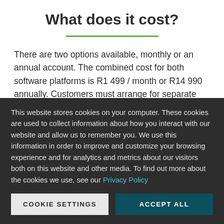What does it cost?
There are two options available, monthly or an annual account. The combined cost for both software platforms is R1 499 / month or R14 990 annually. Customers must arrange for separate
This website stores cookies on your computer. These cookies are used to collect information about how you interact with our website and allow us to remember you. We use this information in order to improve and customize your browsing experience and for analytics and metrics about our visitors both on this website and other media. To find out more about the cookies we use, see our Privacy Policy
COOKIE SETTINGS
ACCEPT ALL